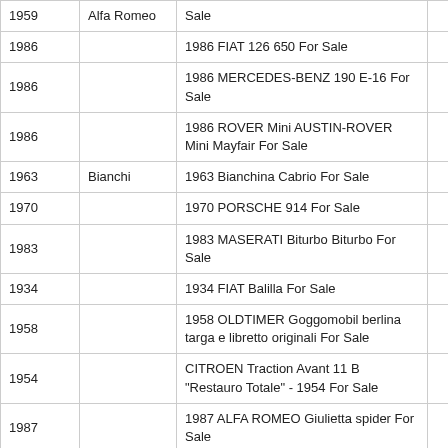| Year | Brand | Title | Price |
| --- | --- | --- | --- |
| 1959 | Alfa Romeo | Sale | 66500 |
| 1986 |  | 1986 FIAT 126 650 For Sale | 3900 |
| 1986 |  | 1986 MERCEDES-BENZ 190 E-16 For Sale | 21600 |
| 1986 |  | 1986 ROVER Mini AUSTIN-ROVER Mini Mayfair For Sale | 2500 |
| 1963 | Bianchi | 1963 Bianchina Cabrio For Sale | 19600 |
| 1970 |  | 1970 PORSCHE 914 For Sale | 29900 |
| 1983 |  | 1983 MASERATI Biturbo Biturbo For Sale | 8500 |
| 1934 |  | 1934 FIAT Balilla For Sale | 24500 |
| 1958 |  | 1958 OLDTIMER Goggomobil berlina targa e libretto originali For Sale | 14000 |
| 1954 |  | CITROEN Traction Avant 11 B "Restauro Totale" - 1954 For Sale | 26900 |
| 1987 |  | 1987 ALFA ROMEO Giulietta spider For Sale | 55000 |
| 1963 | Morris | 1963 Morris Minor Traveller For Sale | 4750 |
| 1972 |  | 1972 VOLKSWAGEN Other Maggiolone For Sale | 6900 |
| 1967 | Fiat | 1967 Fiat 1100R Familiale For Sale | 12500 |